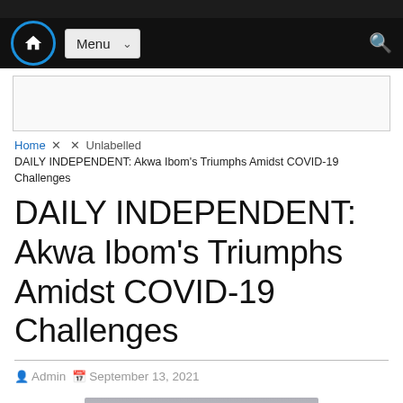[Figure (screenshot): Dark top strip image of a news website]
Menu navigation bar with home icon, Menu dropdown, and search icon
[Figure (other): Advertisement banner area (blank)]
Home × × Unlabelled
DAILY INDEPENDENT: Akwa Ibom's Triumphs Amidst COVID-19 Challenges
DAILY INDEPENDENT: Akwa Ibom's Triumphs Amidst COVID-19 Challenges
Admin  September 13, 2021
[Figure (photo): Partial photo visible at the bottom of the page]